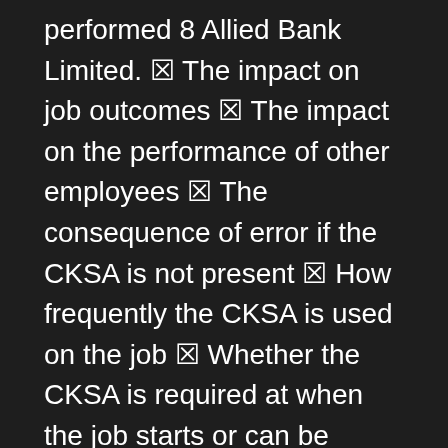performed 8 Allied Bank Limited. ▪ The impact on job outcomes ▪ The impact on the performance of other employees ▪ The consequence of error if the CKSA is not present ▪ How frequently the CKSA is used on the job ▪ Whether the CKSA is required at when the job starts or can be learned or acquired on the job within the first six months When completed sorting, review and make any adjustments that are needed. Count the number of CKSA you sorted in the Critical/Essential and Important/Significant groups. There should be between 6 and 10 competencies. If you have more than that number, you can rank the competencies in your Important/Significant group and pick only the highest ranking that provide you with an appropriate number of competencies. Put all others aside. If you ended up with fewer than an appropriate number of competencies, then